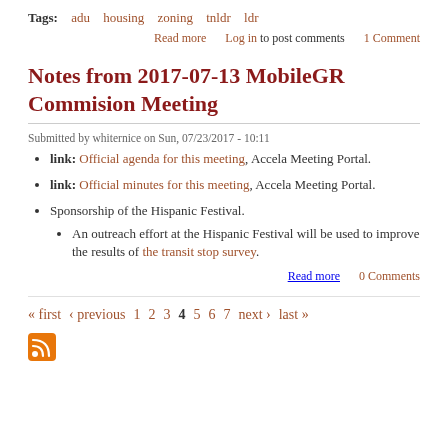Tags: adu   housing   zoning   tnldr   ldr
Read more   Log in to post comments   1 Comment
Notes from 2017-07-13 MobileGR Commision Meeting
Submitted by whiternice on Sun, 07/23/2017 - 10:11
link: Official agenda for this meeting, Accela Meeting Portal.
link: Official minutes for this meeting, Accela Meeting Portal.
Sponsorship of the Hispanic Festival.
An outreach effort at the Hispanic Festival will be used to improve the results of the transit stop survey.
Read more   0 Comments
« first  ‹ previous  1  2  3  4  5  6  7  next ›  last »